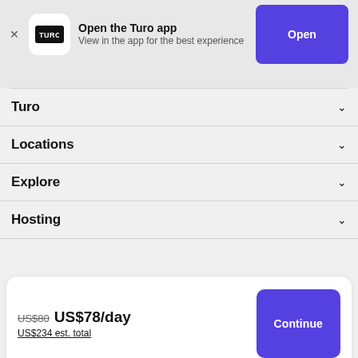[Figure (screenshot): Turo app banner with app icon, 'Open the Turo app' text, 'View in the app for the best experience' subtitle, and a purple 'Open' button]
Turo
Locations
Explore
Hosting
US$80 US$78/day
US$234 est. total
Continue